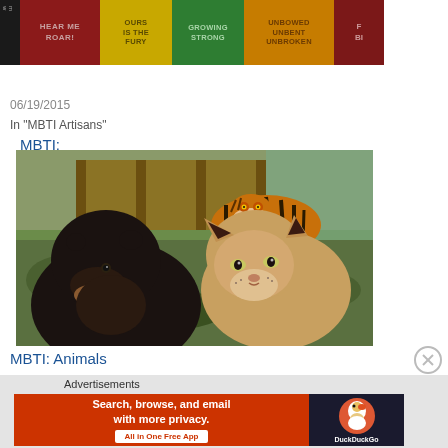[Figure (illustration): Game of Thrones houses banner with colored sections: black, dark red with 'HEAR ME ROAR!', yellow with 'OURS IS THE FURY', green with 'GROWING STRONG', orange with 'UNBOWED UNBENT UNBROKEN', and a partial red section]
MBTI: Game of Thrones' Houses
06/19/2015
In "MBTI Artisans"
[Figure (photo): Photo of a black bear and a lioness in the foreground with a tiger in the background, in an outdoor enclosure with green vegetation]
MBTI: Animals
Advertisements
[Figure (infographic): DuckDuckGo advertisement: 'Search, browse, and email with more privacy. All in One Free App' on orange/red background with DuckDuckGo logo on dark background]